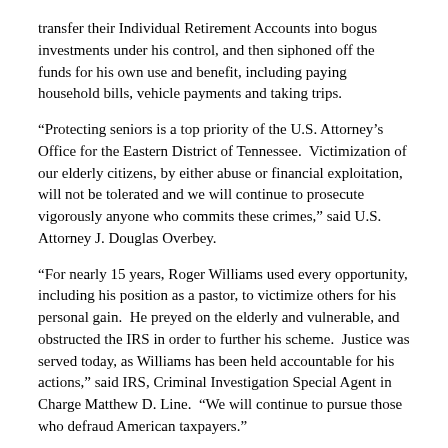transfer their Individual Retirement Accounts into bogus investments under his control, and then siphoned off the funds for his own use and benefit, including paying household bills, vehicle payments and taking trips.
“Protecting seniors is a top priority of the U.S. Attorney’s Office for the Eastern District of Tennessee.  Victimization of our elderly citizens, by either abuse or financial exploitation, will not be tolerated and we will continue to prosecute vigorously anyone who commits these crimes,” said U.S. Attorney J. Douglas Overbey.
“For nearly 15 years, Roger Williams used every opportunity, including his position as a pastor, to victimize others for his personal gain.  He preyed on the elderly and vulnerable, and obstructed the IRS in order to further his scheme.  Justice was served today, as Williams has been held accountable for his actions,” said IRS, Criminal Investigation Special Agent in Charge Matthew D. Line.  “We will continue to pursue those who defraud American taxpayers.”
“Unfortunately, these Ponzi schemes, driven by greed, are commonplace,” said David McGinnis, Inspector in Charge for the Charlotte Division.   “Investors must not simply rely upon a reputation or relationship when entrusting their funds to others.  They should verify the qualifications of those to whom they consider entrusting their funds.